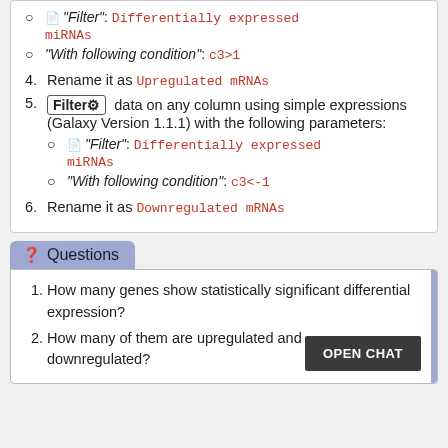"Filter": Differentially expressed miRNAs
"With following condition": c3>1
4. Rename it as Upregulated mRNAs
5. Filter data on any column using simple expressions (Galaxy Version 1.1.1) with the following parameters:
"Filter": Differentially expressed miRNAs
"With following condition": c3<-1
6. Rename it as Downregulated mRNAs
Questions
1. How many genes show statistically significant differential expression?
2. How many of them are upregulated and downregulated?